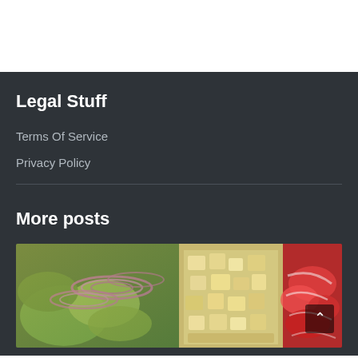Legal Stuff
Terms Of Service
Privacy Policy
More posts
[Figure (photo): Three food photos side by side: a salad with red onion rings and lettuce, diced vegetables/cheese, and a tomato-based dish with red sauce.]